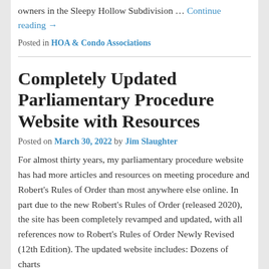owners in the Sleepy Hollow Subdivision … Continue reading →
Posted in HOA & Condo Associations
Completely Updated Parliamentary Procedure Website with Resources
Posted on March 30, 2022 by Jim Slaughter
For almost thirty years, my parliamentary procedure website has had more articles and resources on meeting procedure and Robert's Rules of Order than most anywhere else online. In part due to the new Robert's Rules of Order (released 2020), the site has been completely revamped and updated, with all references now to Robert's Rules of Order Newly Revised (12th Edition). The updated website includes: Dozens of charts